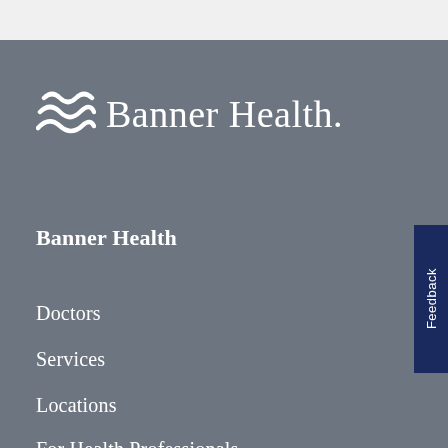[Figure (logo): Banner Health logo with wave symbol and text 'Banner Health.']
Banner Health
Doctors
Services
Locations
For Health Professionals
Feedback